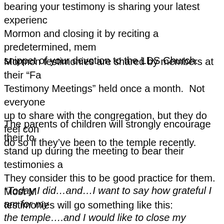bearing your testimony is sharing your latest experience...Mormon and closing it by reciting a predetermined, mem...snippet of your devotion to the LDS Church.
Mormon testimonies are shared by members at their "Fa...Testimony Meetings" held once a month. Not everyone...up to share with the congregation, but they do feel con...do so if they've been to the temple recently.
The parents of children will strongly encourage their to...stand up during the meeting to bear their testimonies a...They consider this to be good practice for them. Most M...testimonies will go something like this:
"Today I did…and…I want to say how grateful I am for my...the temple….and I would like to close my testimony by st...know the Book of Mormon is the word of God, that Josep...a true prophet of God. I know the Mormon Church is the...church on the face of the earth. I bear you my testimon...name of Jesus Christ, amen."